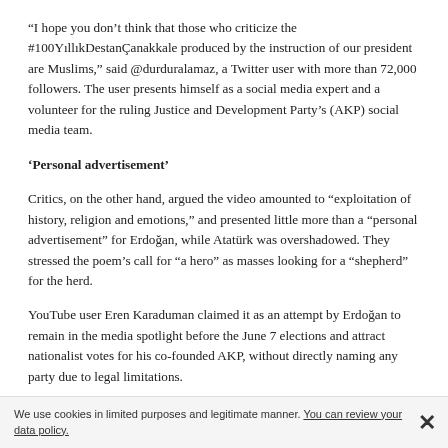“I hope you don’t think that those who criticize the #100YıllıkDestanÇanakkale produced by the instruction of our president are Muslims,” said @durduralamaz, a Twitter user with more than 72,000 followers. The user presents himself as a social media expert and a volunteer for the ruling Justice and Development Party’s (AKP) social media team.
‘Personal advertisement’
Critics, on the other hand, argued the video amounted to “exploitation of history, religion and emotions,” and presented little more than a “personal advertisement” for Erdoğan, while Atatürk was overshadowed. They stressed the poem’s call for “a hero” as masses looking for a “shepherd” for the herd.
YouTube user Eren Karaduman claimed it as an attempt by Erdoğan to remain in the media spotlight before the June 7 elections and attract nationalist votes for his co-founded AKP, without directly naming any party due to legal limitations.
We use cookies in limited purposes and legitimate manner. You can review your data policy.